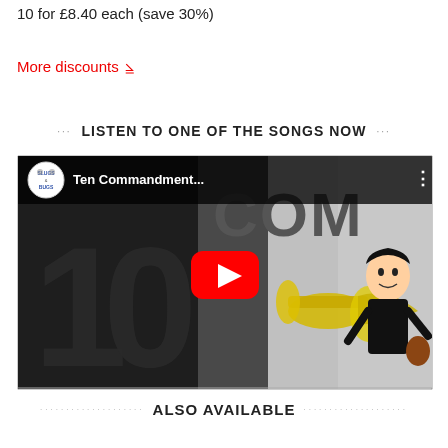10 for £8.40 each (save 30%)
More discounts ▾
LISTEN TO ONE OF THE SONGS NOW
[Figure (screenshot): YouTube video thumbnail showing 'Ten Commandment...' with Slugs & Bugs channel logo, large '10 COM' text, cartoon trumpet player and guitarist, with red YouTube play button overlay]
ALSO AVAILABLE